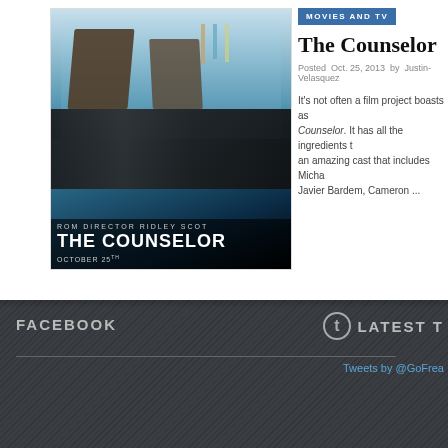[Figure (photo): Movie poster for The Counselor, directed by Ridley Scott. Shows a bar/lounge scene with people in suits. Text reads: FROM DIRECTOR RIDLEY SCOTT / THE COUNSELOR / OCTOBER 25TH]
MOVIES AND TV
The Counselor
Posted  Oct. 25, 2013  by  Justin-Velasquez
It's not often a film project boasts as... Counselor. It has all the ingredients t... an amazing cast that includes Micha... Javier Bardem, Cameron ...
FACEBOOK
LATEST T
Tweets by @GoFrea